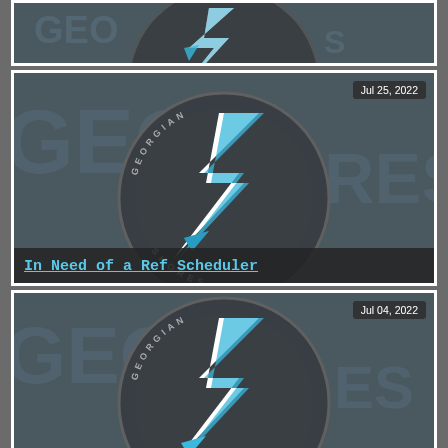[Figure (photo): Top card showing a partial Georgian Shores hockey logo on dark background, cropped]
[Figure (logo): Georgian Shores hockey team logo — dark puck with lightning bolt in white and blue, 'GEORGIAN SHORES' text around puck, dated Jul 25, 2022]
In Need of a Ref Scheduler
[Figure (logo): Georgian Shores hockey team logo — dark puck with lightning bolt in white and blue, 'GEORGIAN SHORES' text around puck, dated Jul 04, 2022]